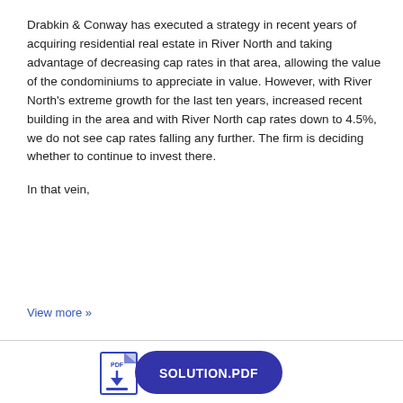Drabkin & Conway has executed a strategy in recent years of acquiring residential real estate in River North and taking advantage of decreasing cap rates in that area, allowing the value of the condominiums to appreciate in value. However, with River North's extreme growth for the last ten years, increased recent building in the area and with River North cap rates down to 4.5%, we do not see cap rates falling any further. The firm is deciding whether to continue to invest there.
In that vein,
View more »
[Figure (other): SOLUTION.PDF button with PDF icon on the left and a dark blue rounded rectangle containing the text SOLUTION.PDF]